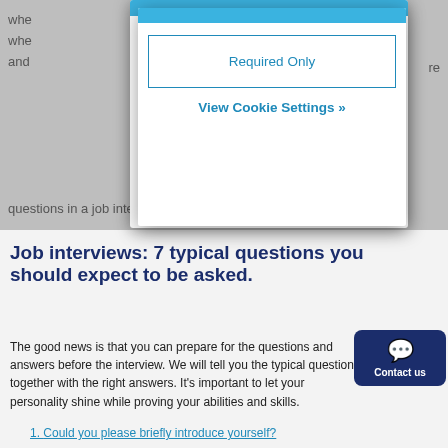whe
whe
and
re
[Figure (screenshot): Cookie consent modal with blue bar at top, 'Required Only' button with blue border, and 'View Cookie Settings »' blue link]
Ther
you
do t
questions in a job interview.
Job interviews: 7 typical questions you should expect to be asked.
The good news is that you can prepare for the questions and answers before the interview. We will tell you the typical questions together with the right answers. It's important to let your personality shine while proving your abilities and skills.
1. Could you please briefly introduce yourself?